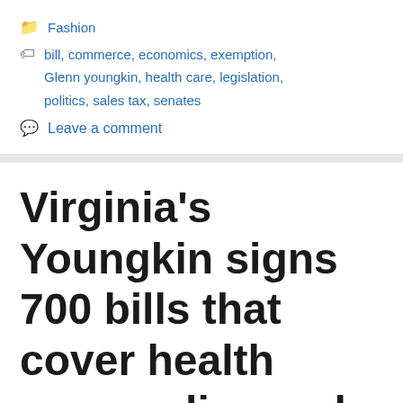Fashion
bill, commerce, economics, exemption, Glenn youngkin, health care, legislation, politics, sales tax, senates
Leave a comment
Virginia's Youngkin signs 700 bills that cover health care, police and taxes | State